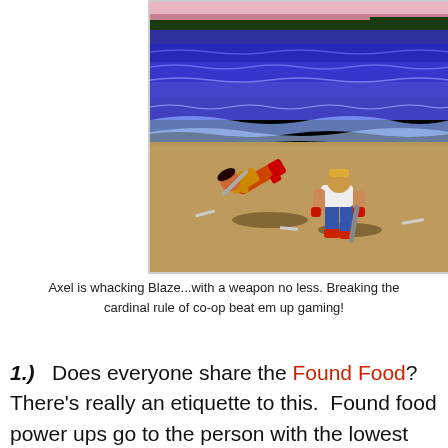[Figure (screenshot): Screenshot from a retro beat-em-up video game (Streets of Rage style). Scene shows a beach level with blue ocean in background. Two characters: one in red/gold outfit lying on the ground, another in white shirt and blue jeans crouching with a weapon. Sandy beach foreground.]
Axel is whacking Blaze...with a weapon no less. Breaking the cardinal rule of co-op beat em up gaming!
1.) Does everyone share the Found Food? There's really an etiquette to this. Found food power ups go to the person with the lowest health, or failing that, the one with the weakest constitution (usually the girl or kid character... sorry PC people) if a player rushes in to take